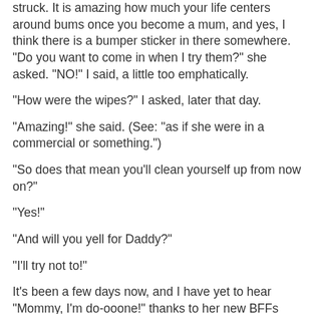struck. It is amazing how much your life centers around bums once you become a mum, and yes, I think there is a bumper sticker in there somewhere. "Do you want to come in when I try them?" she asked. "NO!" I said, a little too emphatically.
"How were the wipes?" I asked, later that day.
"Amazing!" she said. (See: "as if she were in a commercial or something.")
"So does that mean you'll clean yourself up from now on?"
"Yes!"
"And will you yell for Daddy?"
"I'll try not to!"
It's been a few days now, and I have yet to hear "Mommy, I'm do-ooone!" thanks to her new BFFs (Bathroom Friends Forever). She's actually socked the wipes away in the